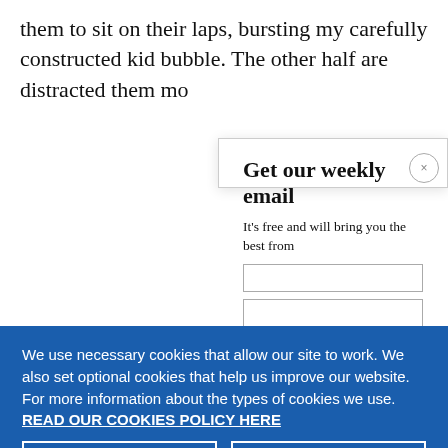them to sit on their laps, bursting my carefully constructed kid bubble. The other half are distracted them mo
Get our weekly email
It's free and will bring you the best from
We use necessary cookies that allow our site to work. We also set optional cookies that help us improve our website. For more information about the types of cookies we use. READ OUR COOKIES POLICY HERE
COOKIE SETTINGS
ALLOW ALL COOKIES
data.